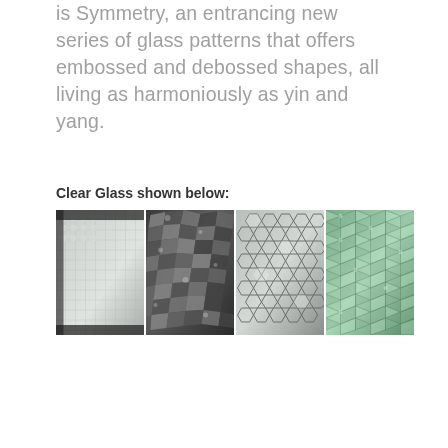is Symmetry, an entrancing new series of glass patterns that offers embossed and debossed shapes, all living as harmoniously as yin and yang.
Clear Glass shown below:
[Figure (photo): Four side-by-side photographs of textured glass panels with geometric embossed and debossed patterns. The first shows a subtle grid texture, the second shows a dark crushed or irregular faceted texture, the third shows a regular hexagonal honeycomb pattern, and the fourth shows a green-tinted raised diamond/scale pattern.]